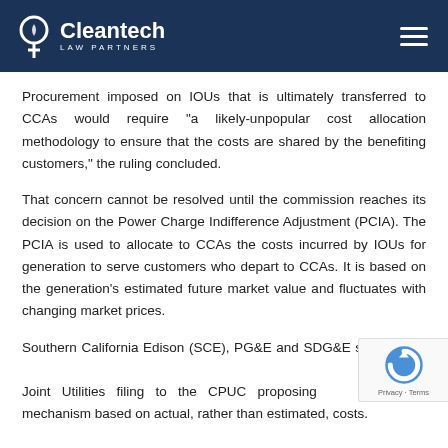Cleantech Law Partners
Procurement imposed on IOUs that is ultimately transferred to CCAs would require "a likely-unpopular cost allocation methodology to ensure that the costs are shared by the benefiting customers," the ruling concluded.
That concern cannot be resolved until the commission reaches its decision on the Power Charge Indifference Adjustment (PCIA). The PCIA is used to allocate to CCAs the costs incurred by IOUs for generation to serve customers who depart to CCAs. It is based on the generation's estimated future market value and fluctuates with changing market prices.
Southern California Edison (SCE), PG&E and SDG&E su[bmitted a] Joint Utilities filing to the CPUC proposing [a] mechanism based on actual, rather than estimated, costs.